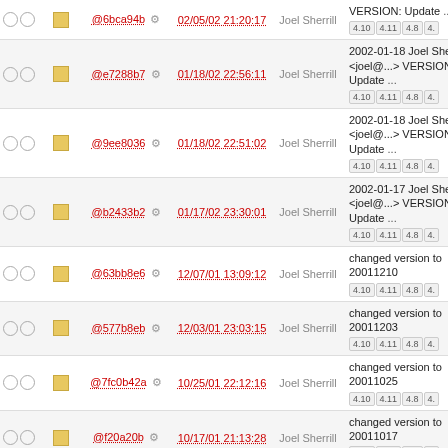|  |  | Hash | Date | Author | Description |
| --- | --- | --- | --- | --- | --- |
| ○ ○ | ■ | @6bca94b ⚙ | 02/05/02 21:20:17 | Joel Sherrill | VERSION: Update ...
4.10 4.11 4.8 4. |
| ○ ○ | ■ | @e7288b7 ⚙ | 01/18/02 22:56:11 | Joel Sherrill | 2002-01-18 Joel Sherrill <joel@...> VERSION: Update ...
4.10 4.11 4.8 4. |
| ○ ○ | ■ | @9ee8036 ⚙ | 01/18/02 22:51:02 | Joel Sherrill | 2002-01-18 Joel Sherrill <joel@...> VERSION: Update ...
4.10 4.11 4.8 4. |
| ○ ○ | ■ | @b2433b2 ⚙ | 01/17/02 23:30:01 | Joel Sherrill | 2002-01-17 Joel Sherrill <joel@...> VERSION: Update ...
4.10 4.11 4.8 4. |
| ○ ○ | ■ | @63bb8e6 ⚙ | 12/07/01 13:09:12 | Joel Sherrill | changed version to 20011210
4.10 4.11 4.8 4. |
| ○ ○ | ■ | @577b8eb ⚙ | 12/03/01 23:03:15 | Joel Sherrill | changed version to 20011203
4.10 4.11 4.8 4. |
| ○ ○ | ■ | @7fc0b42a ⚙ | 10/25/01 22:12:16 | Joel Sherrill | changed version to 20011025
4.10 4.11 4.8 4. |
| ○ ○ | ■ | @f20a20b ⚙ | 10/17/01 21:13:28 | Joel Sherrill | changed version to 20011017
4.10 4.11 4.8 4. |
| ○ ○ | ■ | @221c8f3 ⚙ | 10/05/01 14:22:37 | Joel Sherrill | changed version to 20011005 |